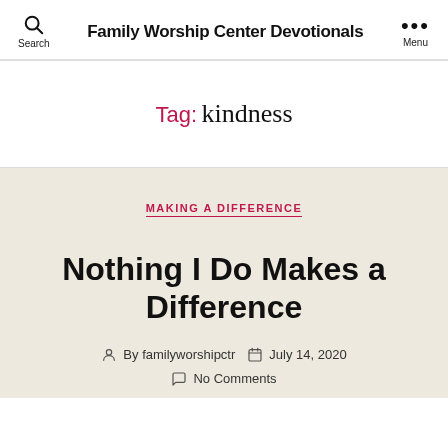Family Worship Center Devotionals
Tag: kindness
MAKING A DIFFERENCE
Nothing I Do Makes a Difference
By familyworshipctr   July 14, 2020   No Comments